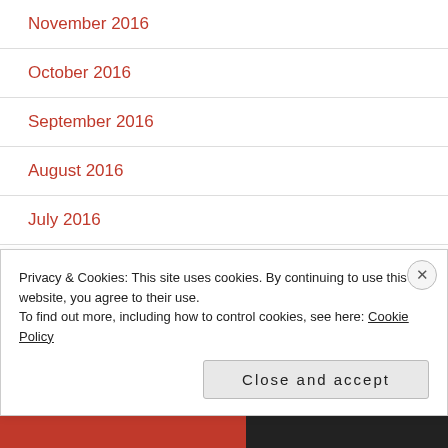November 2016
October 2016
September 2016
August 2016
July 2016
June 2016
May 2016
Privacy & Cookies: This site uses cookies. By continuing to use this website, you agree to their use.
To find out more, including how to control cookies, see here: Cookie Policy
Close and accept